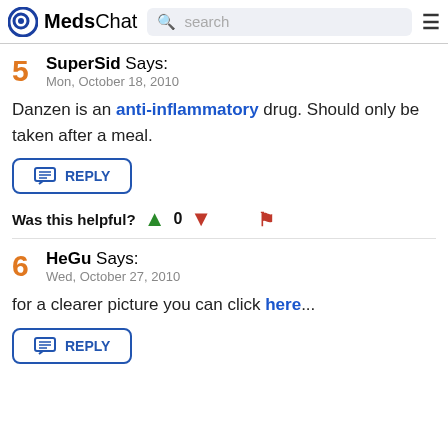MedsChat | search
5 SuperSid Says:
Mon, October 18, 2010

Danzen is an anti-inflammatory drug. Should only be taken after a meal.
Was this helpful? 0
6 HeGu Says:
Wed, October 27, 2010

for a clearer picture you can click here...